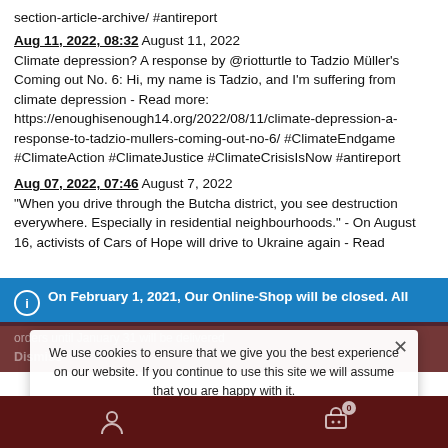section-article-archive/ #antireport
Aug 11, 2022, 08:32 August 11, 2022
Climate depression? A response by @riotturtle to Tadzio Müller's Coming out No. 6: Hi, my name is Tadzio, and I'm suffering from climate depression - Read more: https://enoughisenough14.org/2022/08/11/climate-depression-a-response-to-tadzio-mullers-coming-out-no-6/ #ClimateEndgame #ClimateAction #ClimateJustice #ClimateCrisisIsNow #antireport
Aug 07, 2022, 07:46 August 7, 2022
"When you drive through the Butcha district, you see destruction everywhere. Especially in residential neighbourhoods." - On August 16, activists of Cars of Hope will drive to Ukraine again - Read
On February 1, 2021, Our Online-Shop will be closed. All orders until January 31 will be delivered
Dismiss
We use cookies to ensure that we give you the best experience on our website. If you continue to use this site we will assume that you are happy with it.
Ok